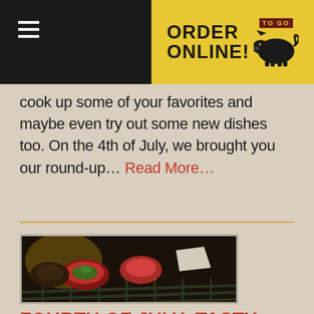ORDER ONLINE! TO-GO [pig icon]
cook up some of your favorites and maybe even try out some new dishes too. On the 4th of July, we brought you our round-up… Read More…
[Figure (photo): Close-up photo of BBQ appetizers on a grill — stuffed peppers and other grilled items with herbs]
FOURTH OF JULY: TASTY BBQ APPETIZERS TO MAKE FOR YOUR